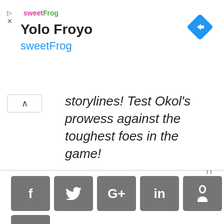[Figure (screenshot): SweetFrog Yolo Froyo advertisement banner with logo, title, subtitle, and navigation icon]
storylines! Test Okol's prowess against the toughest foes in the game!
[Figure (infographic): Social sharing buttons: Facebook, Twitter, Google+, LinkedIn, Pinterest, Tumblr, WhatsApp, Email]